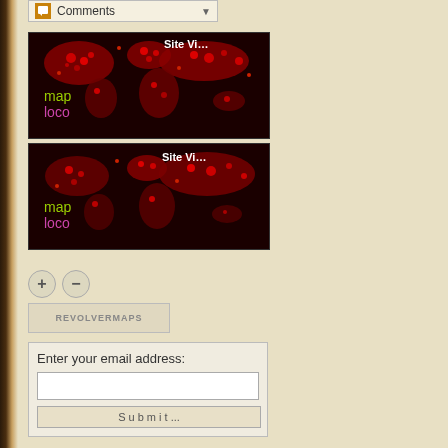Comments
[Figure (map): World map with red visitor dots overlay, showing 'Site Visits' label and 'map loco' branding, dark background]
[Figure (map): Second world map with red visitor dots overlay, showing 'Site Visits' label and 'map loco' branding, dark background]
+ -
REVOLVERMAPS
Enter your email address: